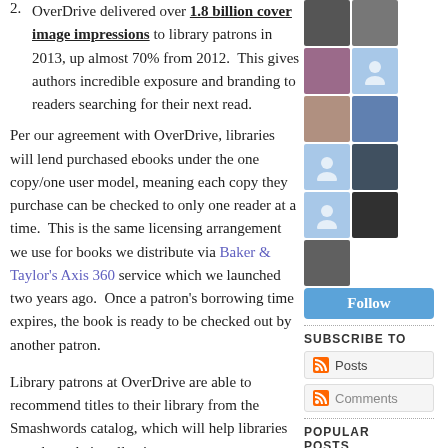OverDrive delivered over 1.8 billion cover image impressions to library patrons in 2013, up almost 70% from 2012. This gives authors incredible exposure and branding to readers searching for their next read.
Per our agreement with OverDrive, libraries will lend purchased ebooks under the one copy/one user model, meaning each copy they purchase can be checked to only one reader at a time. This is the same licensing arrangement we use for books we distribute via Baker & Taylor's Axis 360 service which we launched two years ago. Once a patron's borrowing time expires, the book is ready to be checked out by another patron.
Library patrons at OverDrive are able to recommend titles to their library from the Smashwords catalog, which will help libraries round out their collections.
Alternately, if a library ebook is already checked out, patrons will be presented with the option to purchase
[Figure (photo): Sidebar with avatar/profile images of followers, a Follow button, Subscribe To section with Posts and Comments links, and Popular Posts header]
SUBSCRIBE TO
Posts
Comments
POPULAR POSTS